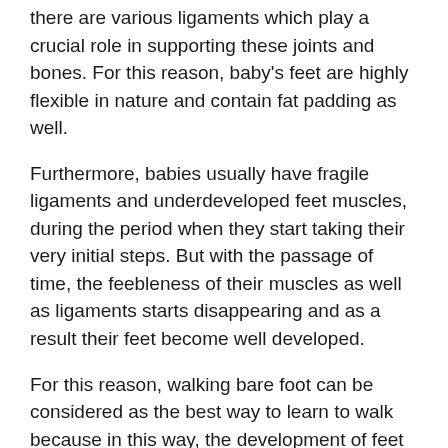there are various ligaments which play a crucial role in supporting these joints and bones. For this reason, baby's feet are highly flexible in nature and contain fat padding as well.
Furthermore, babies usually have fragile ligaments and underdeveloped feet muscles, during the period when they start taking their very initial steps. But with the passage of time, the feebleness of their muscles as well as ligaments starts disappearing and as a result their feet become well developed.
For this reason, walking bare foot can be considered as the best way to learn to walk because in this way, the development of feet occurs in a more natural way.